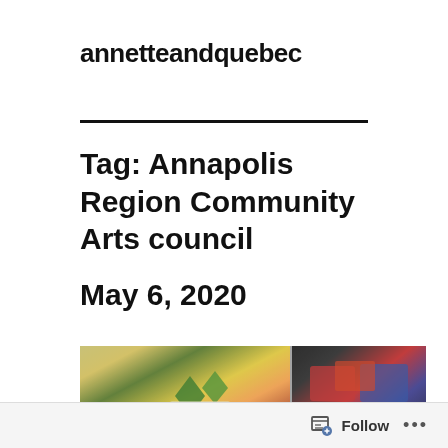annetteandquebec
Tag: Annapolis Region Community Arts council
May 6, 2020
[Figure (photo): A blurry photograph showing what appears to be signage and display items, including green diamond-shaped logos and text reading 'Canpotex', along with other colorful lit displays on the right side.]
Follow